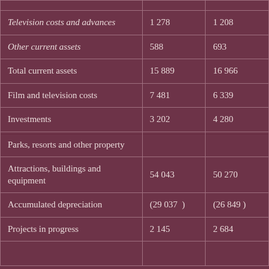| Television costs and advances | 1 278 | 1 208 |
| Other current assets | 588 | 693 |
| Total current assets | 15 889 | 16 966 |
| Film and television costs | 7 481 | 6 339 |
| Investments | 3 202 | 4 280 |
| Parks, resorts and other property |  |  |
| Attractions, buildings and equipment | 54 043 | 50 270 |
| Accumulated depreciation | (29 037  ) | (26 849 ) |
| Projects in progress | 2 145 | 2 684 |